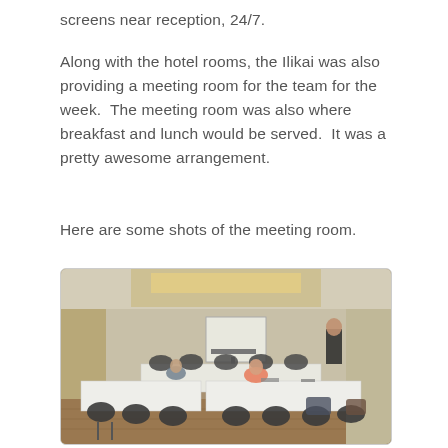screens near reception, 24/7.
Along with the hotel rooms, the Ilikai was also providing a meeting room for the team for the week.  The meeting room was also where breakfast and lunch would be served.  It was a pretty awesome arrangement.
Here are some shots of the meeting room.
[Figure (photo): Interior photograph of a hotel meeting room with round-backed chairs arranged around tables covered with white tablecloths. People are visible setting up the room. The ceiling has recessed lighting with warm tones. A projection screen is visible at the back.]